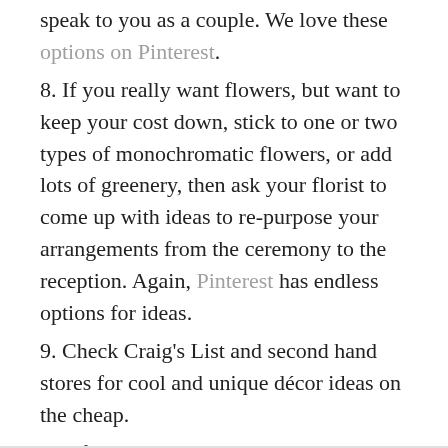speak to you as a couple. We love these options on Pinterest.
8. If you really want flowers, but want to keep your cost down, stick to one or two types of monochromatic flowers, or add lots of greenery, then ask your florist to come up with ideas to re-purpose your arrangements from the ceremony to the reception. Again, Pinterest has endless options for ideas.
9. Check Craig’s List and second hand stores for cool and unique décor ideas on the cheap.
10. If there are brand new things you want, subscribe to Michael’s newsletters. They often have one day sales on frames, vases and candles. (Also they almost always have a 50% off regular priced coupon in their newsletter).